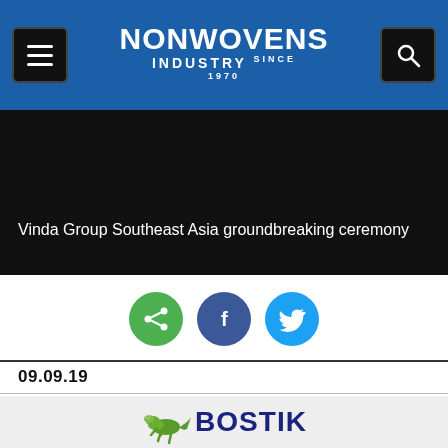NONWOVENS INDUSTRY
[Figure (photo): Vinda Group Southeast Asia groundbreaking ceremony - dark image with caption overlay]
Vinda Group Southeast Asia groundbreaking ceremony
[Figure (infographic): Social sharing buttons: share (green), Facebook (dark blue), Twitter (light blue)]
09.09.19
Vinda Group Southeast Asia (Vinda SEA), a unit of Hong Kong-listed Vinda International, officially launched the
[Figure (logo): Bostik logo with lizard mascot]